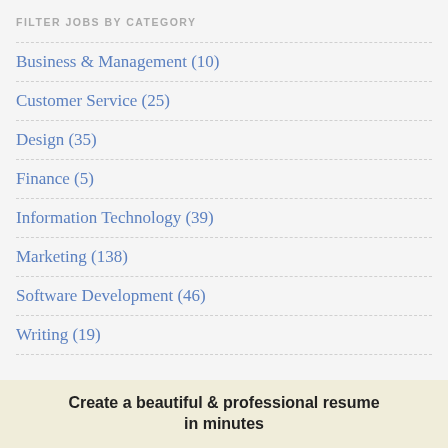FILTER JOBS BY CATEGORY
Business & Management (10)
Customer Service (25)
Design (35)
Finance (5)
Information Technology (39)
Marketing (138)
Software Development (46)
Writing (19)
Create a beautiful & professional resume in minutes